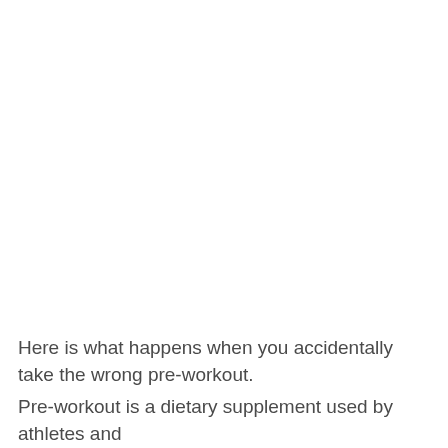Here is what happens when you accidentally take the wrong pre-workout.
Pre-workout is a dietary supplement used by athletes and